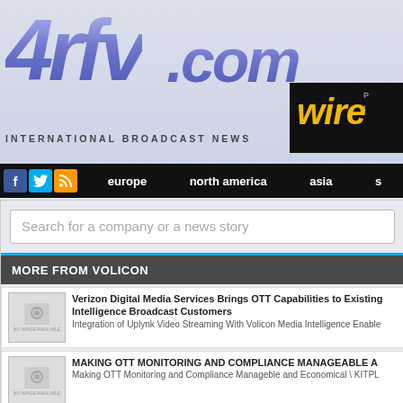[Figure (screenshot): 4rfv.com International Broadcast News website header with logo]
4rfv.com INTERNATIONAL BROADCAST NEWS
[Figure (logo): wire logo on black background]
europe  north america  asia
Search for a company or a news story
MORE FROM VOLICON
Verizon Digital Media Services Brings OTT Capabilities to Existing Intelligence Broadcast Customers
Integration of Uplynk Video Streaming With Volicon Media Intelligence Enable
MAKING OTT MONITORING AND COMPLIANCE MANAGEABLE A
Making OTT Monitoring and Compliance Manageble and Economical \ KITPL
VOLICON AT SET Expo 06
Share Application Enhancements The Share application for Volicon's Observe Platform accelerates the content-generation workflow by fac...